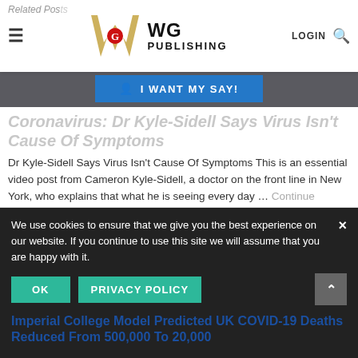Related Posts
[Figure (logo): WG Publishing logo with ornate W and G letters]
I WANT MY SAY!
Coronavirus: Dr Kyle-Sidell Says Virus Isn't Cause Of Symptoms
Dr Kyle-Sidell Says Virus Isn't Cause Of Symptoms This is an essential video post from Cameron Kyle-Sidell, a doctor on the front line in New York, who explains that what he is seeing every day … Continue reading
The Bernician
We use cookies to ensure that we give you the best experience on our website. If you continue to use this site we will assume that you are happy with it.
OK
PRIVACY POLICY
Imperial College Model Predicted UK COVID-19 Deaths Reduced From 500,000 To 20,000